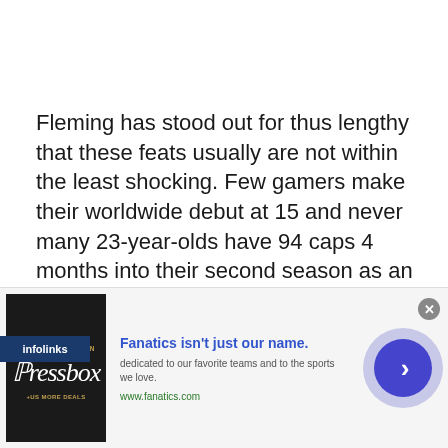Fleming has stood out for thus lengthy that these feats usually are not within the least shocking. Few gamers make their worldwide debut at 15 and never many 23-year-olds have 94 caps 4 months into their second season as an expert. This season Fleming has already performed 9 minutes greater than within the 2020-21 WSL marketing campaign, beginning 5 video games and
[Figure (screenshot): Advertisement banner for Fanatics featuring Pressbox logo on left, 'Fanatics isn't just our name.' headline in blue, subtitle text, www.fanatics.com URL, and a blue circular arrow button on right. Infolinks label visible at top left of ad area.]